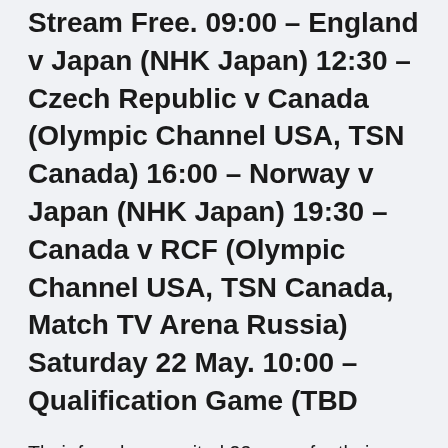Stream Free. 09:00 – England v Japan (NHK Japan) 12:30 – Czech Republic v Canada (Olympic Channel USA, TSN Canada) 16:00 – Norway v Japan (NHK Japan) 19:30 – Canada v RCF (Olympic Channel USA, TSN Canada, Match TV Arena Russia) Saturday 22 May. 10:00 – Qualification Game (TBD
Their fans have waited 23 years for their team to be in a Scotland vs Czech Republic, UEFA Euro 2020: All you need to know about live streaming details on Sony Liv, match timings, venue for Euro Cup 2020 Match Today between Scotland and Czech Republic. The UEFA Euro 2020 is back in action with another round of fixtures this week as Scotland take on Czech Republic in a